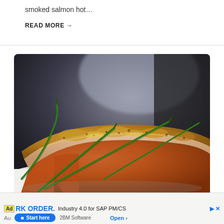smoked salmon hot…
READ MORE →
[Figure (photo): Close-up photo of a pan-seared salmon fillet topped with green chives/scallions and a golden-brown crust, served on a white plate with blurred background.]
Ad RK ORDER. Industry 4.0 for SAP PM/CS  Start here  2BM Software  Open >  X